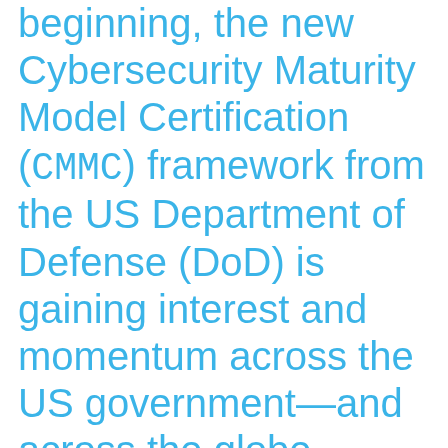beginning, the new Cybersecurity Maturity Model Certification (CMMC) framework from the US Department of Defense (DoD) is gaining interest and momentum across the US government—and across the globe.
Katie Arrington, the DoD's CISO for acquisition and sustainment and point person for the CMMC, has been upfront in saying she